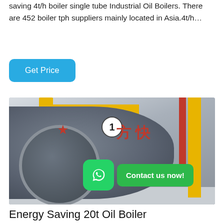saving 4t/h boiler single tube Industrial Oil Boilers. There are 452 boiler tph suppliers mainly located in Asia.4t/h…
Get Price
[Figure (photo): Industrial oil boiler in a facility with yellow pipes and red pipe. Chinese text '方快' and brand logo visible on boiler drum. WhatsApp contact button overlay with 'Contact us now!' message.]
Energy Saving 20t Oil Boiler Manufacturing